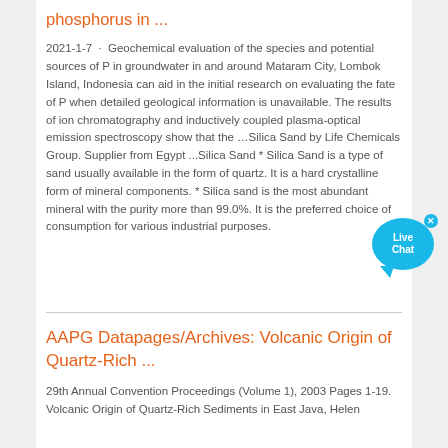phosphorus in ...
2021-1-7 · Geochemical evaluation of the species and potential sources of P in groundwater in and around Mataram City, Lombok Island, Indonesia can aid in the initial research on evaluating the fate of P when detailed geological information is unavailable. The results of ion chromatography and inductively coupled plasma-optical emission spectroscopy show that the …Silica Sand by Life Chemicals Group. Supplier from Egypt ...Silica Sand * Silica Sand is a type of sand usually available in the form of quartz. It is a hard crystalline form of mineral components. * Silica sand is the most abundant mineral with the purity more than 99.0%. It is the preferred choice of consumption for various industrial purposes.
AAPG Datapages/Archives: Volcanic Origin of Quartz-Rich ...
29th Annual Convention Proceedings (Volume 1), 2003 Pages 1-19. Volcanic Origin of Quartz-Rich Sediments in East Java, Helen